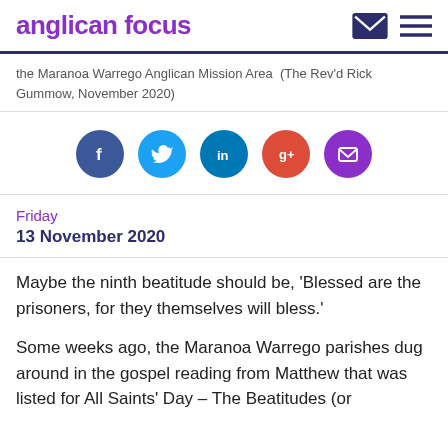anglican focus
the Maranoa Warrego Anglican Mission Area  (The Rev'd Rick Gummow, November 2020)
[Figure (other): Social media sharing icons: Facebook (blue), Twitter (light blue), LinkedIn (dark blue), Google+ (orange-red), Email (purple)]
Friday
13 November 2020
Maybe the ninth beatitude should be, 'Blessed are the prisoners, for they themselves will bless.'
Some weeks ago, the Maranoa Warrego parishes dug around in the gospel reading from Matthew that was listed for All Saints' Day – The Beatitudes (or